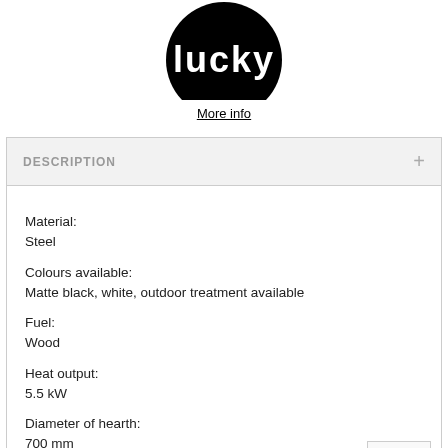[Figure (logo): Black circular logo with white text (partially visible, cropped at top)]
More info
DESCRIPTION
Material:
Steel

Colours available:
Matte black, white, outdoor treatment available

Fuel:
Wood

Heat output:
5.5 kW

Diameter of hearth:
700 mm

Efficiency:
59.4%